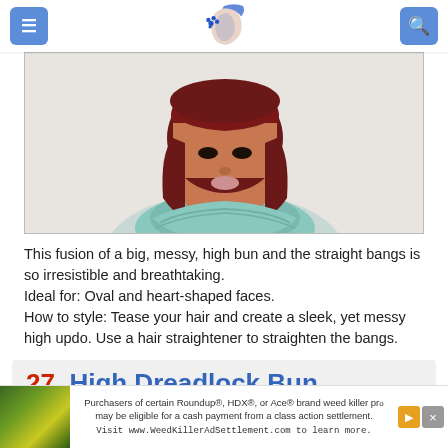Beauty Woman website header with menu and search buttons
[Figure (photo): Woman with dark red hair styled with straight bangs and a messy high bun, wearing a teal crochet top, against a white background]
This fusion of a big, messy, high bun and the straight bangs is so irresistible and breathtaking.
Ideal for: Oval and heart-shaped faces.
How to style: Tease your hair and create a sleek, yet messy high updo. Use a hair straightener to straighten the bangs.
27. High Dreadlock Bun
[Figure (photo): Advertisement banner: Purchasers of certain Roundup®, HDX®, or Ace® brand weed killer products may be eligible for a cash payment from a class action settlement. Visit www.WeedKillerAdSettlement.com to learn more.]